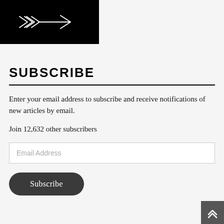[Figure (logo): Black rectangular logo block with a decorative double-arrow pointing right, drawn in white sketch style on black background]
SUBSCRIBE
Enter your email address to subscribe and receive notifications of new articles by email.
Join 12,632 other subscribers
[Figure (other): Email address input field with placeholder text 'Email Address']
[Figure (other): Dark rounded Subscribe button]
[Figure (other): Dark grey scroll-to-top button with upward double chevron in bottom right corner]